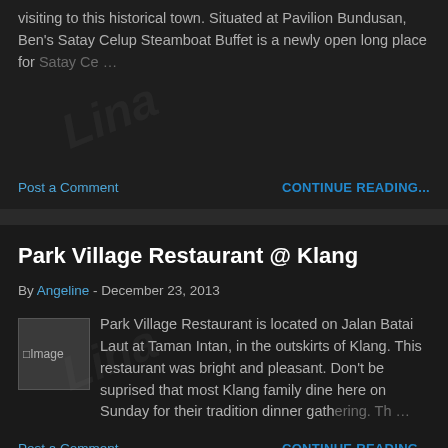visiting to this historical town. Situated at Pavilion Bundusan, Ben's Satay Celup Steamboat Buffet is a newly open long place for Satay Ce… …
Post a Comment
CONTINUE READING...
Park Village Restaurant @ Klang
By Angeline - December 23, 2013
[Figure (photo): Broken image placeholder labeled 'Image']
Park Village Restaurant is located on Jalan Batai Laut at Taman Intan, in the outskirts of Klang. This restaurant was bright and pleasant. Don't be suprised that most Klang family dine here on Sunday for their tradition dinner gathering. Th… …
Post a Comment
CONTINUE READING...